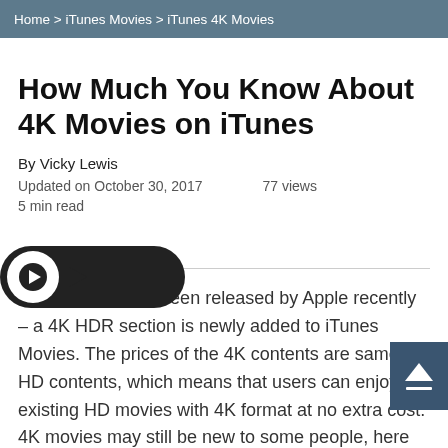Home > iTunes Movies > iTunes 4K Movies
How Much You Know About 4K Movies on iTunes
By Vicky Lewis
Updated on October 30, 2017    77 views
5 min read
A good news has been released by Apple recently – a 4K HDR section is newly added to iTunes Movies. The prices of the 4K contents are same as HD contents, which means that users can enjoy the existing HD movies with 4K format at no extra cost. 4K movies may still be new to some people, here I'd like to give you some introduction of the 4K movies on iTunes...